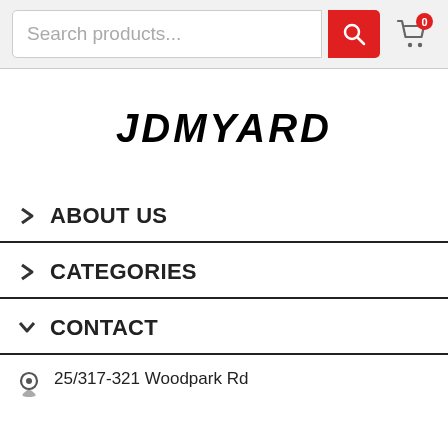Search products... [search button] [cart 0]
[Figure (logo): JDMYARD logo in bold italic black text]
> ABOUT US
> CATEGORIES
v CONTACT
25/317-321 Woodpark Rd